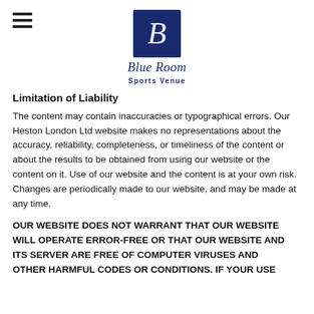[Figure (logo): Blue Room Sports Venue logo — dark blue square with stylized letter B, with 'Blue Room' in italic script and 'Sports Venue' in small caps below]
Limitation of Liability
The content may contain inaccuracies or typographical errors. Our Heston London Ltd website makes no representations about the accuracy, reliability, completeness, or timeliness of the content or about the results to be obtained from using our website or the content on it. Use of our website and the content is at your own risk. Changes are periodically made to our website, and may be made at any time.
OUR WEBSITE DOES NOT WARRANT THAT OUR WEBSITE WILL OPERATE ERROR-FREE OR THAT OUR WEBSITE AND ITS SERVER ARE FREE OF COMPUTER VIRUSES AND OTHER HARMFUL CODES OR CONDITIONS. IF YOUR USE